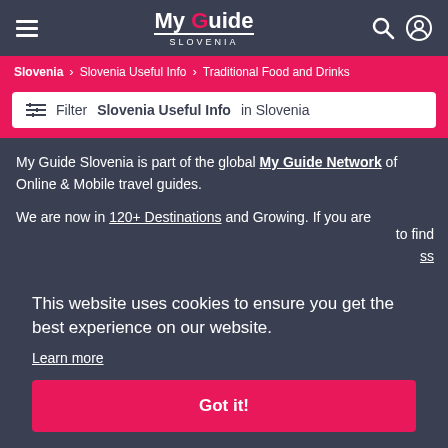My Guide SLOVENIA
Slovenia > Slovenia Useful Info > Traditional Food and Drinks
Filter Slovenia Useful Info in Slovenia
My Guide Slovenia is part of the global My Guide Network of Online & Mobile travel guides.
We are now in 120+ Destinations and Growing. If you are to find ss
This website uses cookies to ensure you get the best experience on our website.
Learn more
Got it!